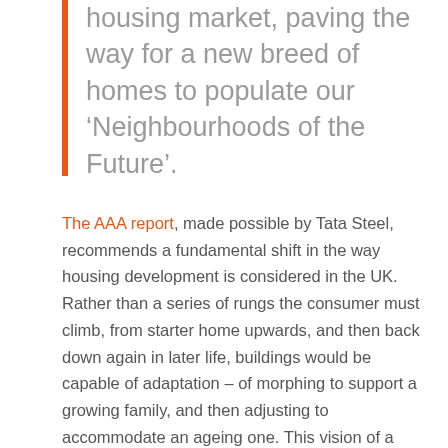housing market, paving the way for a new breed of homes to populate our ‘Neighbourhoods of the Future’.
The AAA report, made possible by Tata Steel, recommends a fundamental shift in the way housing development is considered in the UK. Rather than a series of rungs the consumer must climb, from starter home upwards, and then back down again in later life, buildings would be capable of adaptation – of morphing to support a growing family, and then adjusting to accommodate an ageing one. This vision of a home for life can only be achieved by looking at the needs of the occupant and how they change over time.